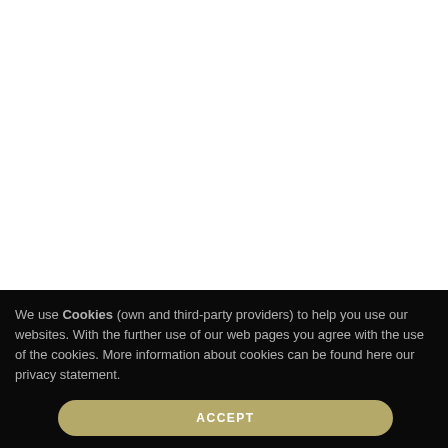We use Cookies (own and third-party providers) to help you use our websites. With the further use of our web pages you agree with the use of the cookies. More information about cookies can be found here our privacy statement.
ACCEPT